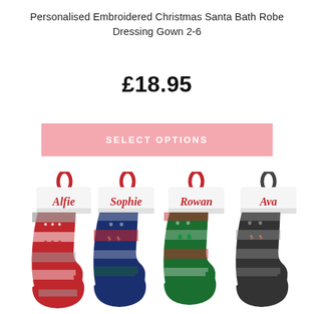Personalised Embroidered Christmas Santa Bath Robe Dressing Gown 2-6
£18.95
SELECT OPTIONS
[Figure (photo): Four personalised Christmas stockings with fair isle knit patterns in red, navy, green, and dark grey, each with a white cuff embroidered with a name: Alfie, Sophie, Rowan, Ava.]